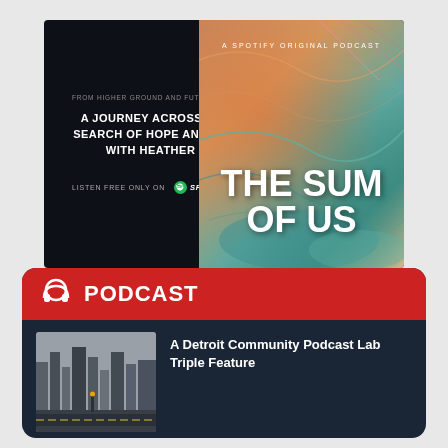[Figure (illustration): Spotify podcast promotional banner for 'The Sum of Us' — dark navy background with map-themed cover art on the right, showing colorful topographic map imagery. Left side has text: 'FROM HIGHER GROUND AND FUTURO STUDIOS', 'A JOURNEY ACROSS AMERICA IN SEARCH OF HOPE AND SOLIDARITY WITH HEATHER MCGHEE', 'LISTEN FREE ONLY ON Spotify'. Right side shows podcast cover with title 'THE SUM OF US' and label 'A SPOTIFY ORIGINAL PODCAST'.]
PODCAST
A Detroit Community Podcast Lab Triple Feature
[Figure (photo): Cityscape photo of Detroit downtown skyline with tall buildings and street view in grayscale/muted tones.]